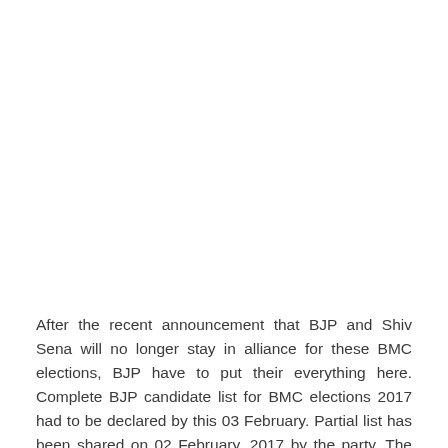After the recent announcement that BJP and Shiv Sena will no longer stay in alliance for these BMC elections, BJP have to put their everything here. Complete BJP candidate list for BMC elections 2017 had to be declared by this 03 February. Partial list has been shared on 02 February, 2017 by the party. The BMC candidate list of BJP has to be chosen very carefully, as the party has to make huge improvement considering their previous elections. In 2012 BMC elections, BJP made alliance with Shiv